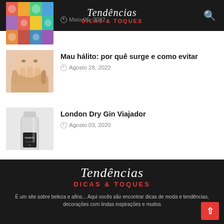Tendências Dicas & Toques
[Figure (photo): Colorful toys photo thumbnail]
Fortuna
Maio 06, 2022
[Figure (photo): Person covering mouth with hand - bad breath article thumbnail]
Mau hálito: por quê surge e como evitar
Agosto 28, 2022
[Figure (photo): London Dry Gin bottle thumbnail]
London Dry Gin Viajador
Agosto 03, 2020
Tendências Dicas & Toques — É um site sobre beleza e afins... Aqui vocês são encontrar dicas de moda e tendências, decorações com lindas inspirações e muitos